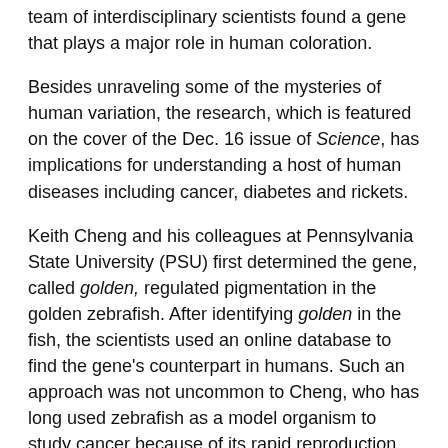team of interdisciplinary scientists found a gene that plays a major role in human coloration.
Besides unraveling some of the mysteries of human variation, the research, which is featured on the cover of the Dec. 16 issue of Science, has implications for understanding a host of human diseases including cancer, diabetes and rickets.
Keith Cheng and his colleagues at Pennsylvania State University (PSU) first determined the gene, called golden, regulated pigmentation in the golden zebrafish. After identifying golden in the fish, the scientists used an online database to find the gene's counterpart in humans. Such an approach was not uncommon to Cheng, who has long used zebrafish as a model organism to study cancer because of its rapid reproduction cycle and many genes in common with humans.
When compared to the typical zebrafish, the golden variant is lighter in color and has pale stripes. The team also found the golden zebrafish had fewer, smaller melanosomes, the cellular organelles that contain the pigment melanin. The PSU group then proved the golden gene was responsible for the differences between the two zebrafish variants.